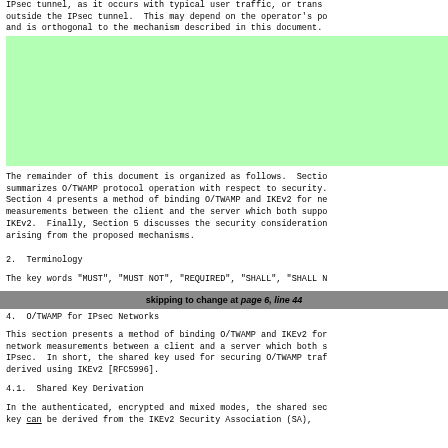IPsec tunnel, as it occurs with typical user traffic, or trans outside the IPsec tunnel.  This may depend on the operator's po and is orthogonal to the mechanism described in this document.
[Figure (other): Light green shaded rectangle representing a diagram or figure area]
The remainder of this document is organized as follows.  Sectio summarizes O/TWAMP protocol operation with respect to security. Section 4 presents a method of binding O/TWAMP and IKEv2 for ne measurements between the client and the server which both suppo IKEv2.  Finally, Section 5 discusses the security consideration arising from the proposed mechanisms.
2.  Terminology
The key words "MUST", "MUST NOT", "REQUIRED", "SHALL", "SHALL N
skipping to change at page 6, line 44
4.  O/TWAMP for IPsec Networks
This section presents a method of binding O/TWAMP and IKEv2 for network measurements between a client and a server which both s IPsec.  In short, the shared key used for securing O/TWAMP traf derived using IKEv2 [RFC5996].
4.1.  Shared Key Derivation
In the authenticated, encrypted and mixed modes, the shared sec key can be derived from the IKEv2 Security Association (SA),